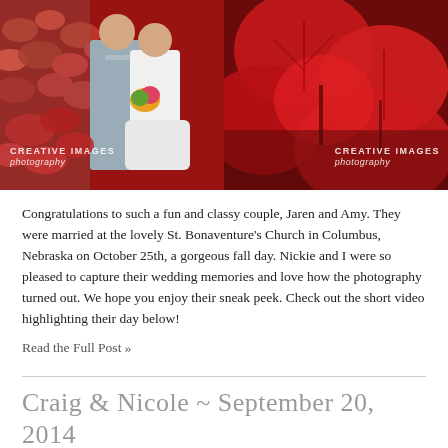[Figure (photo): Left: Wedding couple (groom in gray suit, bride in white dress holding bouquet) standing in front of red foliage and brick wall. Watermark: CREATIVE IMAGES photography. Right: Close-up of red heart-shaped leaves. Watermark: CREATIVE IMAGES photography.]
Congratulations to such a fun and classy couple, Jaren and Amy. They were married at the lovely St. Bonaventure's Church in Columbus, Nebraska on October 25th, a gorgeous fall day. Nickie and I were so pleased to capture their wedding memories and love how the photography turned out. We hope you enjoy their sneak peek. Check out the short video highlighting their day below!
Read the Full Post »
Craig & Nicole ~ September 20, 2014